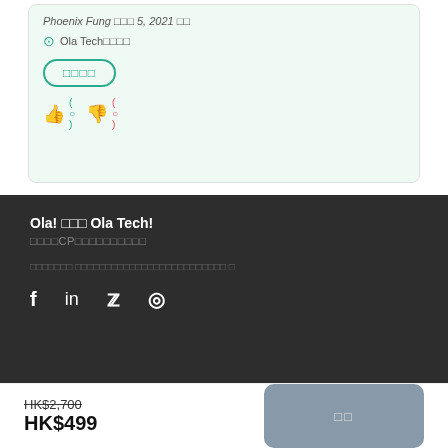Phoenix Fung □□□ 5, 2021 □□
Ola Tech □□□□
□□□□
Ola! □□□ Ola Tech!
□□□□CP□□□□□□□□□□
□□□□□□□ □□□□□□□□□□□□□□□□□□□□□□□□□ □
HK$2,700
HK$499
□□